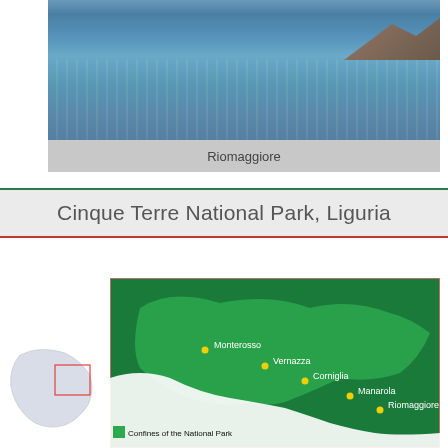[Figure (photo): Coastal photo of Riomaggiore showing blue sea water with rocky cliffs in the background]
Riomaggiore
Cinque Terre National Park, Liguria
[Figure (map): Map of Cinque Terre National Park showing the five villages: Monterosso, Vernazza, Corniglia, Manarola, Riomaggiore. Green shading shows the confines of the National Park along the Ligurian coast. A smaller inset map shows the regional location.]